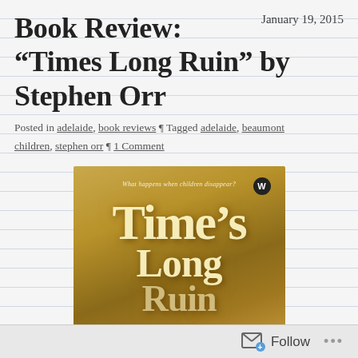Book Review: “Times Long Ruin” by Stephen Orr
January 19, 2015
Posted in adelaide, book reviews ¶ Tagged adelaide, beaumont children, stephen orr ¶ 1 Comment
[Figure (photo): Book cover of 'Time's Long Ruin' by Stephen Orr showing large golden embossed title text on a warm brown/golden background with the tagline 'What happens when children disappear?' at the top and a publisher logo (W) in the top right corner.]
Follow ...